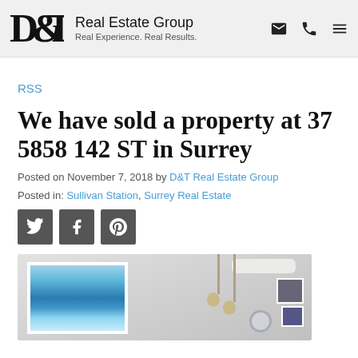D&T Real Estate Group — Real Experience. Real Results.
RSS
We have sold a property at 37 5858 142 ST in Surrey
Posted on November 7, 2018 by D&T Real Estate Group
Posted in: Sullivan Station, Surrey Real Estate
[Figure (other): Social share buttons: Twitter, Facebook, Pinterest]
[Figure (photo): Interior photo of a property showing a living room with ocean wave artwork on the wall and modern pendant lighting]